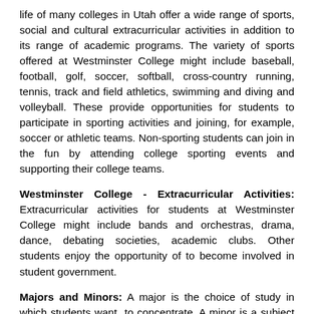life of many colleges in Utah offer a wide range of sports, social and cultural extracurricular activities in addition to its range of academic programs. The variety of sports offered at Westminster College might include baseball, football, golf, soccer, softball, cross-country running, tennis, track and field athletics, swimming and diving and volleyball. These provide opportunities for students to participate in sporting activities and joining, for example, soccer or athletic teams. Non-sporting students can join in the fun by attending college sporting events and supporting their college teams.
Westminster College - Extracurricular Activities: Extracurricular activities for students at Westminster College might include bands and orchestras, drama, dance, debating societies, academic clubs. Other students enjoy the opportunity of to become involved in student government.
Majors and Minors: A major is the choice of study in which students want to concentrate. A minor is a subject that students choose as their second concentration of courses. Honors programs are often embarked upon by students who achieve high grades.
Major Fields for the Westminster College: The...